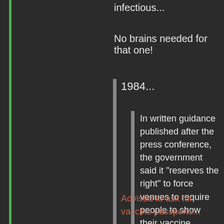infectious...
No brains needed for that one!
1984...
In written guidance published after the press conference, the government said it "reserves the right" to force venues to require people to show their vaccine passport in order to be allowed in.
Advised to ask for vaccine passports...